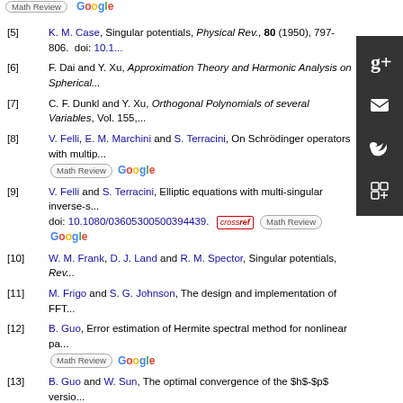[5] K. M. Case, Singular potentials, Physical Rev., 80 (1950), 797-806. doi: 10.1...
[6] F. Dai and Y. Xu, Approximation Theory and Harmonic Analysis on Spherical...
[7] C. F. Dunkl and Y. Xu, Orthogonal Polynomials of several Variables, Vol. 155,...
[8] V. Felli, E. M. Marchini and S. Terracini, On Schrödinger operators with multip...
[9] V. Felli and S. Terracini, Elliptic equations with multi-singular inverse-s... doi: 10.1080/03605300500394439.
[10] W. M. Frank, D. J. Land and R. M. Spector, Singular potentials, Rev...
[11] M. Frigo and S. G. Johnson, The design and implementation of FFT...
[12] B. Guo, Error estimation of Hermite spectral method for nonlinear pa...
[13] B. Guo and W. Sun, The optimal convergence of the $h$-$p$ versio... doi: 10.1137/05063756X.
[14] D. M. Healy Jr., D. Rockmore, P. J. Kostelec and S. Moore, FFTs fo... 0018-9.
[15] H. Kalf, U. W. Schmincke, J. Walter and R. Wüst, On the spectral theory of S... Equations, Vol. 448 of Lect. Notes in Math. Springer, Berlin, 1975,182-226.
[16] H. Li and Y. Xu, Spectral approximations on the unit ball, SIAM J. Numer. An...